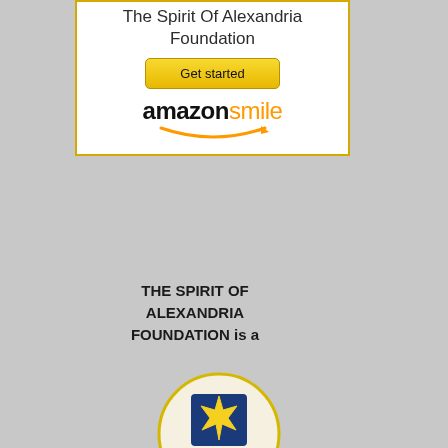[Figure (screenshot): AmazonSmile box with 'The Spirit Of Alexandria Foundation' title, yellow 'Get started' button, and Amazon Smile logo with orange arrow smile]
THE SPIRIT OF ALEXANDRIA FOUNDATION is a
[Figure (logo): GuideStar Exchange Gold Participant badge - circular badge with blue star and gold ribbon]
[Figure (other): Green 'Donate Now' button with hand/heart icon]
[Figure (logo): Spirit of Alexandria Foundation logo - stylized text with angel figure]